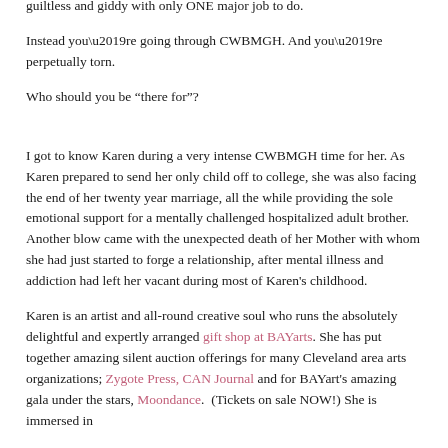guiltless and giddy with only ONE major job to do.
Instead you’re going through CWBMGH. And you’re perpetually torn.
Who should you be “there for”?
I got to know Karen during a very intense CWBMGH time for her. As Karen prepared to send her only child off to college, she was also facing the end of her twenty year marriage, all the while providing the sole emotional support for a mentally challenged hospitalized adult brother. Another blow came with the unexpected death of her Mother with whom she had just started to forge a relationship, after mental illness and addiction had left her vacant during most of Karen’s childhood.
Karen is an artist and all-round creative soul who runs the absolutely delightful and expertly arranged gift shop at BAYarts. She has put together amazing silent auction offerings for many Cleveland area arts organizations; Zygote Press, CAN Journal and for BAYart’s amazing gala under the stars, Moondance. (Tickets on sale NOW!) She is immersed in